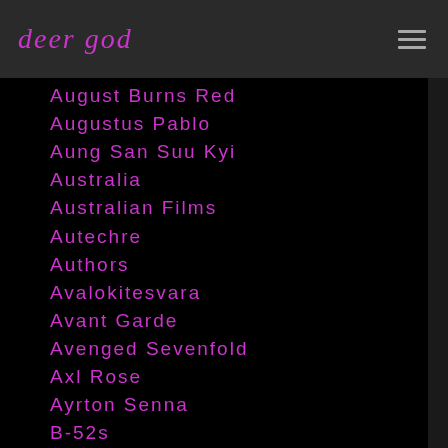deer god
August Burns Red
Augustus Pablo
Aung San Suu Kyi
Australia
Australian Films
Autechre
Authors
Avalokitesvara
Avant Garde
Avenged Sevenfold
Axl Rose
Ayrton Senna
B-52s
Baaba Maal
Babes In Toyland
Baby Metal
Bad Brains